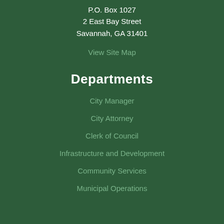P.O. Box 1027
2 East Bay Street
Savannah, GA 31401
View Site Map
Departments
City Manager
City Attorney
Clerk of Council
Infrastructure and Development
Community Services
Municipal Operations